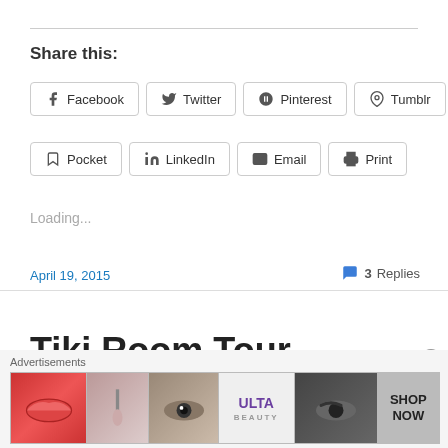Share this:
Facebook | Twitter | Pinterest | Tumblr | Reddit | Pocket | LinkedIn | Email | Print
Loading...
April 19, 2015
3 Replies
Tiki Room Tour
Advertisements
[Figure (photo): ULTA beauty advertisement banner with makeup images (lips, brush, eye, brows) and SHOP NOW call to action]